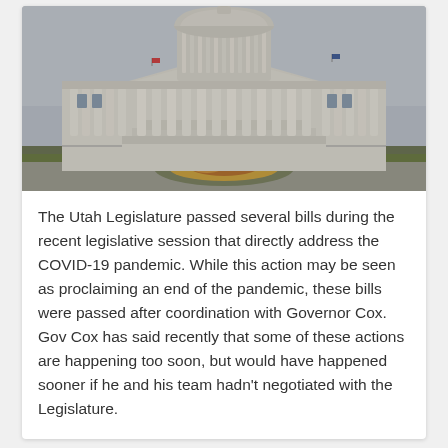[Figure (photo): Exterior photograph of the Utah State Capitol building in Salt Lake City. The neoclassical building features a large central dome, columned facade, and grand entrance stairs. The foreground shows a circular driveway with a decorative landscape feature. The sky is overcast and grey. Flags are visible on the roofline.]
The Utah Legislature passed several bills during the recent legislative session that directly address the COVID-19 pandemic. While this action may be seen as proclaiming an end of the pandemic, these bills were passed after coordination with Governor Cox. Gov Cox has said recently that some of these actions are happening too soon, but would have happened sooner if he and his team hadn't negotiated with the Legislature.